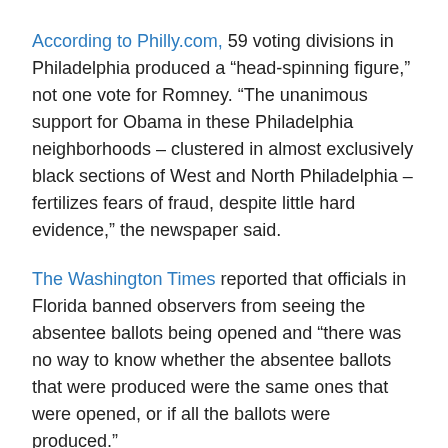According to Philly.com, 59 voting divisions in Philadelphia produced a “head-spinning figure,” not one vote for Romney. “The unanimous support for Obama in these Philadelphia neighborhoods – clustered in almost exclusively black sections of West and North Philadelphia – fertilizes fears of fraud, despite little hard evidence,” the newspaper said.
The Washington Times reported that officials in Florida banned observers from seeing the absentee ballots being opened and “there was no way to know whether the absentee ballots that were produced were the same ones that were opened, or if all the ballots were produced.”
Human Events claimed Ohio voters who are native to Somalia were being given a slate card saying, “Vote